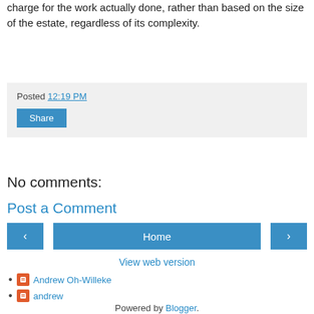charge for the work actually done, rather than based on the size of the estate, regardless of its complexity.
Posted 12:19 PM
Share
No comments:
Post a Comment
Home
View web version
Andrew Oh-Willeke
andrew
Powered by Blogger.